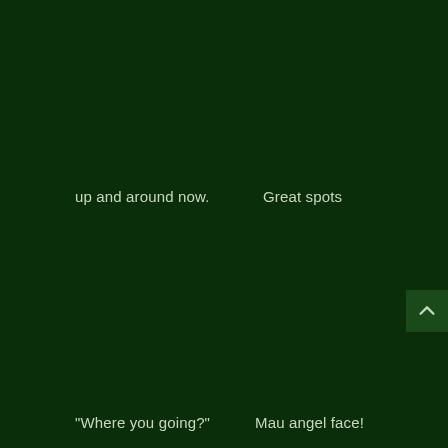up and around now.
Great spots
"Where you going?"
Mau angel face!